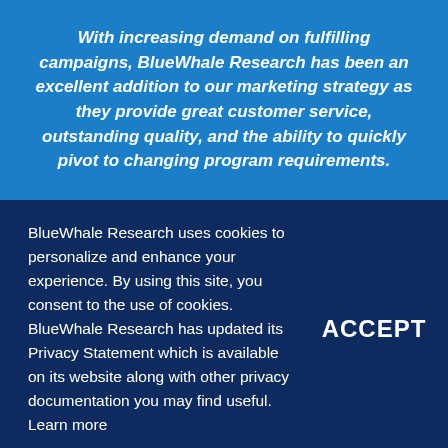With increasing demand on fulfilling campaigns, BlueWhale Research has been an excellent addition to our marketing strategy as they provide great customer service, outstanding quality, and the ability to quickly pivot to changing program requirements.
BlueWhale Research uses cookies to personalize and enhance your experience. By using this site, you consent to the use of cookies. BlueWhale Research has updated its Privacy Statement which is available on its website along with other privacy documentation you may find useful. Learn more
ACCEPT